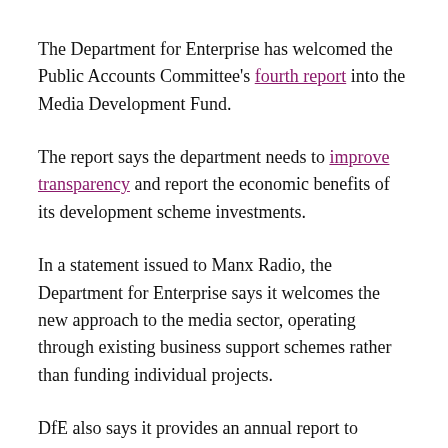The Department for Enterprise has welcomed the Public Accounts Committee's fourth report into the Media Development Fund.
The report says the department needs to improve transparency and report the economic benefits of its development scheme investments.
In a statement issued to Manx Radio, the Department for Enterprise says it welcomes the new approach to the media sector, operating through existing business support schemes rather than funding individual projects.
DfE also says it provides an annual report to Tynwald, the 'Enterprise Support Report', and 'notes' the suggestion this approach should be adopted more widely.